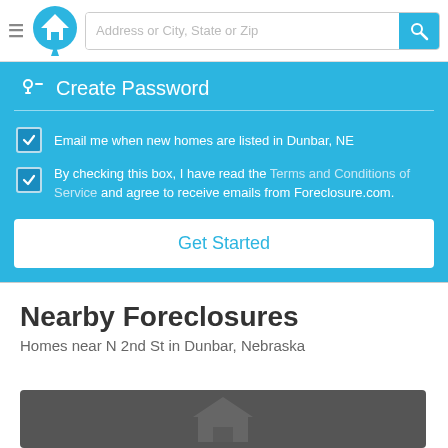[Figure (screenshot): Navigation bar with hamburger menu, house logo, search input 'Address or City, State or Zip', and blue search button with magnifier icon]
Create Password
Email me when new homes are listed in Dunbar, NE
By checking this box, I have read the Terms and Conditions of Service and agree to receive emails from Foreclosure.com.
Get Started
Nearby Foreclosures
Homes near N 2nd St in Dunbar, Nebraska
[Figure (photo): Dark gray property image placeholder with a faint house icon silhouette]